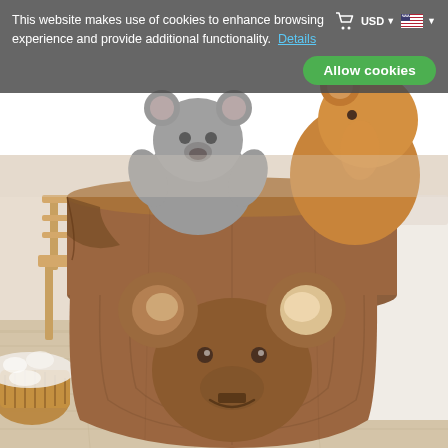[Figure (photo): A brown fabric toy storage basket shaped like a bear/mouse face with ears and a smiley face applique, filled with stuffed animal toys (grey teddy bear, brown teddy bear). Basket is sitting on a light wood floor in a children's room with a wooden chair visible in the background, a white fluffy rug on the left, and a wicker basket. The basket has circular ear decorations with fluffy cream-colored pom-poms.]
This website makes use of cookies to enhance browsing experience and provide additional functionality.  Details
Allow cookies
LUNA DREAM